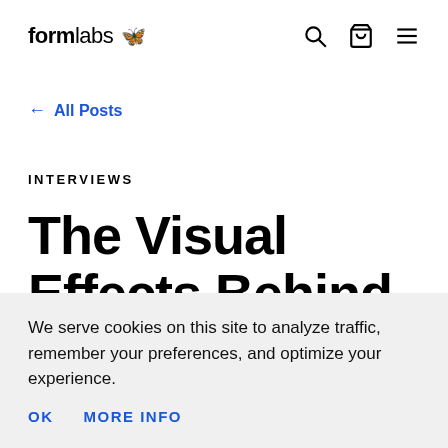formlabs [logo]
← All Posts
INTERVIEWS
The Visual Effects Behind Stranger Things...
We serve cookies on this site to analyze traffic, remember your preferences, and optimize your experience.
OK   MORE INFO